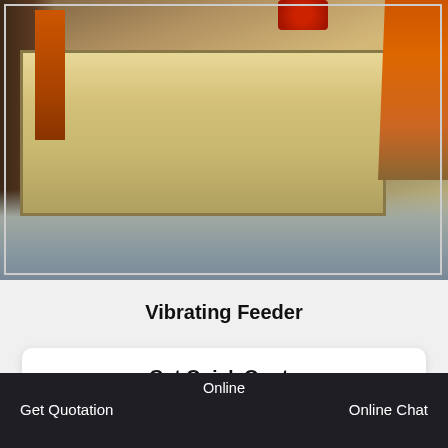[Figure (photo): Industrial vibrating feeder machine in a factory/yard setting. Large yellow/beige colored heavy equipment with orange accents, photographed outdoors on a concrete surface.]
Vibrating Feeder
Get Quick Quote
Need more information about our products and prices?Just contact us, we are waiting for you!
Online | Get Quotation | Online Chat